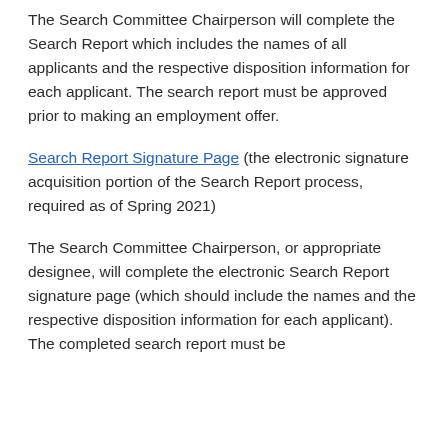The Search Committee Chairperson will complete the Search Report which includes the names of all applicants and the respective disposition information for each applicant. The search report must be approved prior to making an employment offer.
Search Report Signature Page (the electronic signature acquisition portion of the Search Report process, required as of Spring 2021)
The Search Committee Chairperson, or appropriate designee, will complete the electronic Search Report signature page (which should include the names and the respective disposition information for each applicant). The completed search report must be